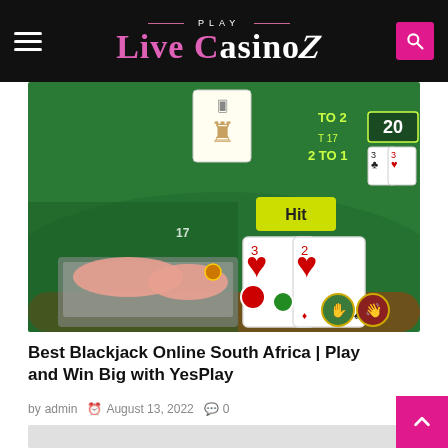PLAY Live CasinoZ
[Figure (photo): Online blackjack game screenshot showing a green casino table with playing cards (3 of hearts, 2 of hearts) and a 'Hit' button, with hands typing on a laptop keyboard in the foreground]
Best Blackjack Online South Africa | Play and Win Big with YesPlay
by admin  August 13, 2022  0